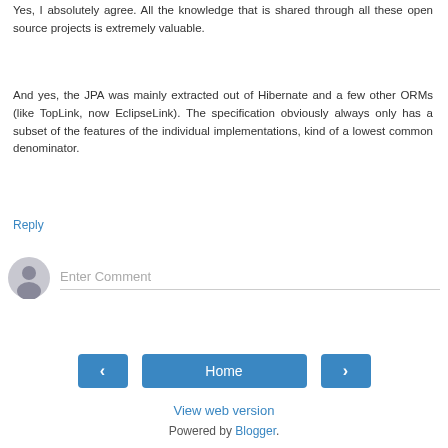Yes, I absolutely agree. All the knowledge that is shared through all these open source projects is extremely valuable.
And yes, the JPA was mainly extracted out of Hibernate and a few other ORMs (like TopLink, now EclipseLink). The specification obviously always only has a subset of the features of the individual implementations, kind of a lowest common denominator.
Reply
[Figure (other): User avatar icon (gray circle with person silhouette) and Enter Comment input field]
[Figure (other): Navigation bar with left arrow button, Home button, and right arrow button]
View web version
Powered by Blogger.